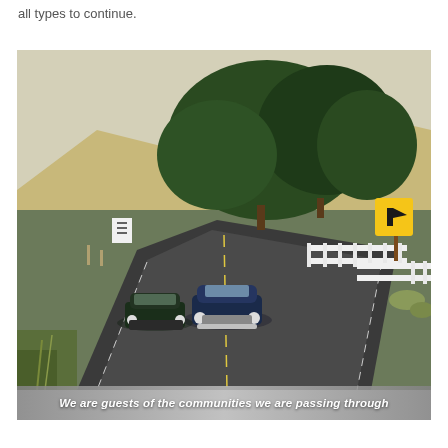all types to continue.
[Figure (photo): Two vintage classic cars driving on a winding rural road with green trees, a white picket fence, and a yellow road sign in the background.]
We are guests of the communities we are passing through